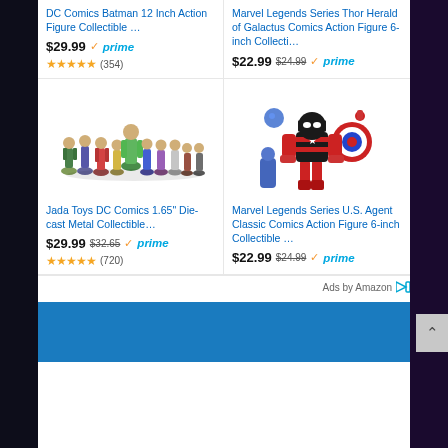DC Comics Batman 12 Inch Action Figure Collectible …
$29.99 ✓prime ★★★★★ (354)
Marvel Legends Series Thor Herald of Galactus Comics Action Figure 6-inch Collecti…
$22.99 $24.99 ✓prime
[Figure (photo): Jada Toys DC Comics 1.65 inch die-cast metal collectible figurines lineup]
Jada Toys DC Comics 1.65" Die-cast Metal Collectible…
$29.99 $32.65 ✓prime ★★★★★ (720)
[Figure (photo): Marvel Legends Series U.S. Agent Classic Comics Action Figure 6-inch collectible with accessories]
Marvel Legends Series U.S. Agent Classic Comics Action Figure 6-inch Collectible …
$22.99 $24.99 ✓prime
Ads by Amazon